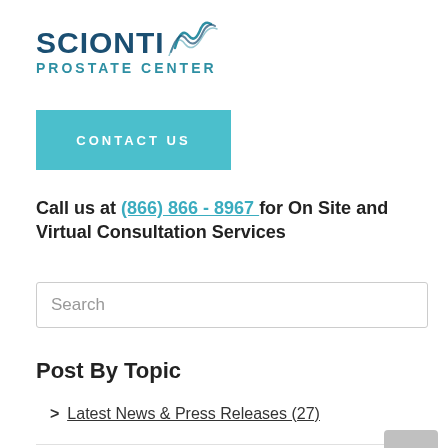[Figure (logo): Scionti Prostate Center logo with wave graphic and teal/navy text]
CONTACT US
Call us at (866) 866 - 8967  for On Site and Virtual Consultation Services
Search
Post By Topic
> Latest News & Press Releases (27)
> HIFU Patient Stories (12)
> Dr.Scionti Blogs about prostate cancer (9)